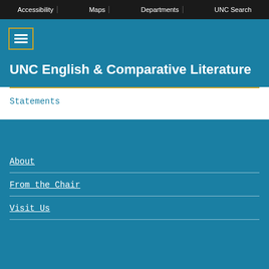Accessibility | Maps | Departments | UNC Search
UNC English & Comparative Literature
Statements
About
From the Chair
Visit Us